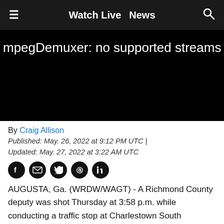≡  Watch Live  News  🔍
[Figure (screenshot): Black video player area showing error text: 'mpegDemuxer: no supported streams']
By Craig Allison
Published: May. 26, 2022 at 9:12 PM UTC  |  Updated: May. 27, 2022 at 3:22 AM UTC
AUGUSTA, Ga. (WRDW/WAGT) - A Richmond County deputy was shot Thursday at 3:58 p.m. while conducting a traffic stop at Charlestown South Apartments, off Peach Orchard Road.
The deputy was transported to Augusta University Medical Center and at this time, his injuries are not considered life-